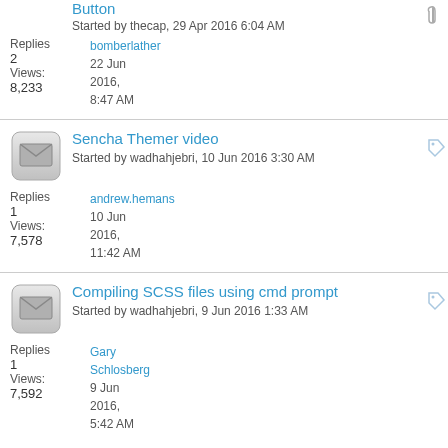Button - Started by thecap, 29 Apr 2016 6:04 AM
Replies: 2 | Views: 8,233 | Last: bomberlather, 22 Jun 2016, 8:47 AM
Sencha Themer video - Started by wadhahjebri, 10 Jun 2016 3:30 AM
Replies: 1 | Views: 7,578 | Last: andrew.hemans, 10 Jun 2016, 11:42 AM
Compiling SCSS files using cmd prompt - Started by wadhahjebri, 9 Jun 2016 1:33 AM
Replies: 1 | Views: 7,592 | Last: Gary Schlosberg, 9 Jun 2016, 5:42 AM